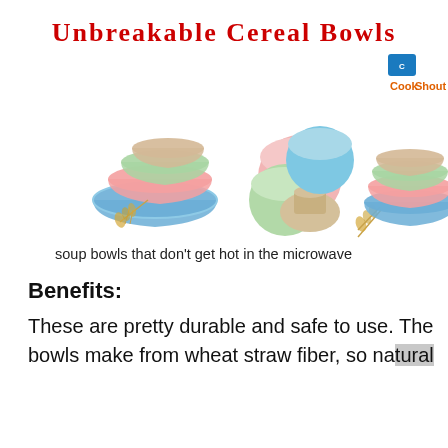Unbreakable Cereal Bowls
[Figure (photo): Three groups of colorful wheat straw cereal/soup bowls in blue, pink, green, and beige colors, with decorative wheat stalks. A CookShout logo is visible in the lower right.]
soup bowls that don't get hot in the microwave
Benefits:
These are pretty durable and safe to use. The bowls make from wheat straw fiber, so natural